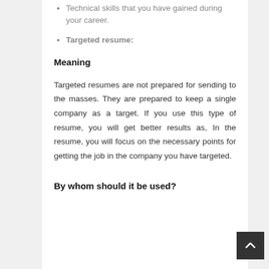Technical skills that you have gained during your career.
Targeted resume:
Meaning
Targeted resumes are not prepared for sending to the masses. They are prepared to keep a single company as a target. If you use this type of resume, you will get better results as, In the resume, you will focus on the necessary points for getting the job in the company you have targeted.
By whom should it be used?